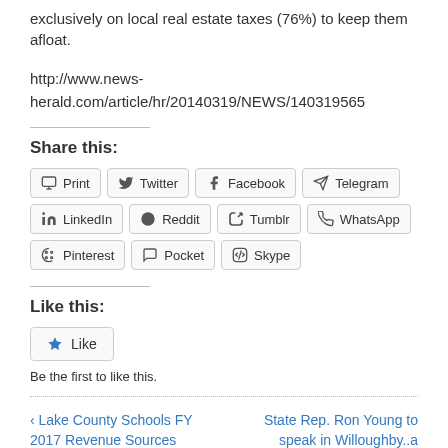exclusively on local real estate taxes (76%) to keep them afloat.
http://www.news-herald.com/article/hr/20140319/NEWS/140319565
Share this:
Print  Twitter  Facebook  Telegram  LinkedIn  Reddit  Tumblr  WhatsApp  Pinterest  Pocket  Skype
Like this:
Like
Be the first to like this.
‹ Lake County Schools FY 2017 Revenue Sources
State Rep. Ron Young to speak in Willoughby..a chance to 'look behind the curtain' ›